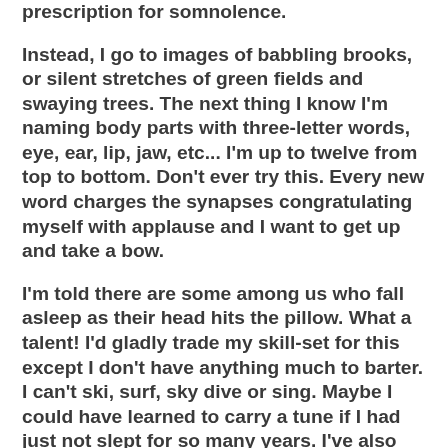prescription for somnolence.
Instead, I go to images of babbling brooks, or silent stretches of green fields and swaying trees. The next thing I know I'm naming body parts with three-letter words, eye, ear, lip, jaw, etc... I'm up to twelve from top to bottom. Don't ever try this. Every new word charges the synapses congratulating myself with applause and I want to get up and take a bow.
I'm told there are some among us who fall asleep as their head hits the pillow. What a talent! I'd gladly trade my skill-set for this except I don't have anything much to barter. I can't ski, surf, sky dive or sing. Maybe I could have learned to carry a tune if I had just not slept for so many years. I've also never sailed a boat, submerged into a shark tank or slam-dunked. The list of non-achievements is enough to keep me up another